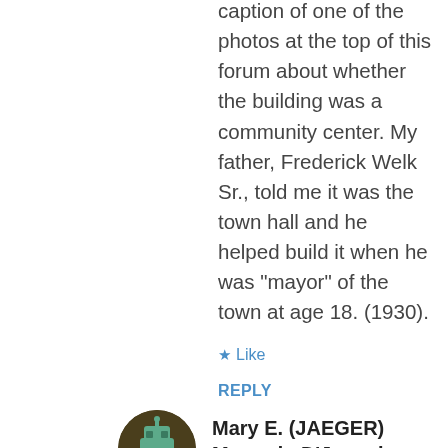caption of one of the photos at the top of this forum about whether the building was a community center. My father, Frederick Welk Sr., told me it was the town hall and he helped build it when he was “mayor” of the town at age 18. (1930).
★ Like
REPLY
[Figure (illustration): User avatar: circular image with olive/dark brown background and a pixel-art style green robot/character icon]
Mary E. (JAEGER) Marando D’Joseph Jaeger says:
MARCH 21, 2018 AT 10:46 PM